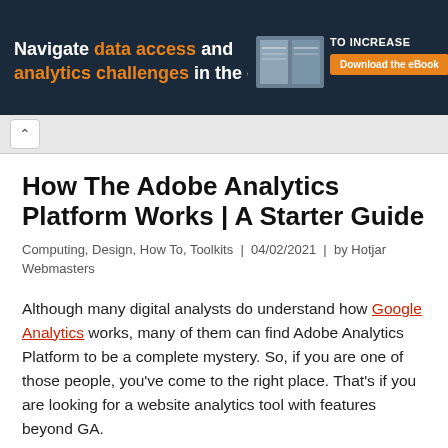[Figure (other): Banner advertisement: 'Navigate data access and analytics challenges in the cloud' with orange highlighted text, a book image, 'TO INCREASE' text, and orange 'Download the eBook' button on dark navy background.]
[Figure (other): Browser tab bar with a back/up chevron arrow button on light grey background.]
How The Adobe Analytics Platform Works | A Starter Guide
Computing, Design, How To, Toolkits | 04/02/2021 | by Hotjar Webmasters
Although many digital analysts do understand how Google Analytics works, many of them can find Adobe Analytics Platform to be a complete mystery. So, if you are one of those people, you've come to the right place. That's if you are looking for a website analytics tool with features beyond GA.